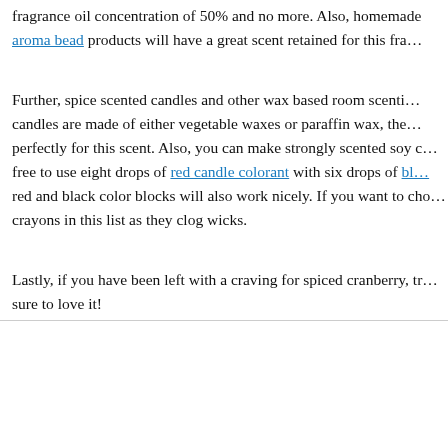fragrance oil concentration of 50% and no more. Also, homemade aroma bead products will have a great scent retained for this fra...
Further, spice scented candles and other wax based room scenti... candles are made of either vegetable waxes or paraffin wax, the... perfectly for this scent. Also, you can make strongly scented soy c... free to use eight drops of red candle colorant with six drops of bl... red and black color blocks will also work nicely. If you want to cho... crayons in this list as they clog wicks.
Lastly, if you have been left with a craving for spiced cranberry, tr... sure to love it!
[Figure (other): Article preview section with green date box showing SEP 19, article title 'Pumpkin Pie Spice Fragra...' in dark green, and social sharing buttons (Tweet, Like 0, share count)]